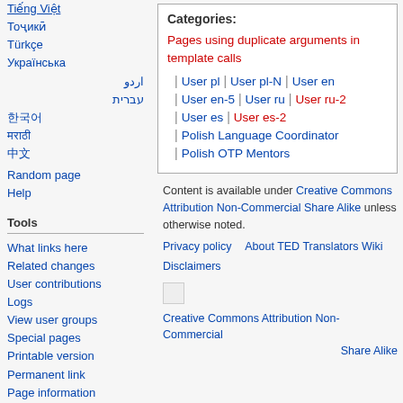Tiếng Việt
Тоҷикӣ
Türkçe
Українська
اردو
עברית
한국어
मराठी
中文
Random page
Help
Tools
What links here
Related changes
User contributions
Logs
View user groups
Special pages
Printable version
Permanent link
Page information
Categories:
Pages using duplicate arguments in template calls
User pl | User pl-N | User en | User en-5 | User ru | User ru-2 | User es | User es-2
Polish Language Coordinator
Polish OTP Mentors
Content is available under Creative Commons Attribution Non-Commercial Share Alike unless otherwise noted.
Privacy policy   About TED Translators Wiki
Disclaimers
[Figure (logo): Creative Commons Attribution Non-Commercial Share Alike logo]